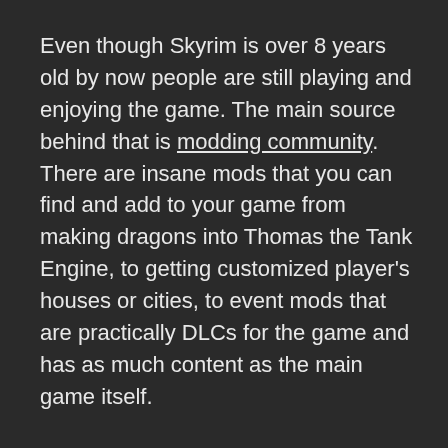Even though Skyrim is over 8 years old by now people are still playing and enjoying the game. The main source behind that is modding community. There are insane mods that you can find and add to your game from making dragons into Thomas the Tank Engine, to getting customized player's houses or cities, to event mods that are practically DLCs for the game and has as much content as the main game itself.
Skyrim is available for the PC, Playstation 3 and 4, Xbox 360 and One, and the Switch